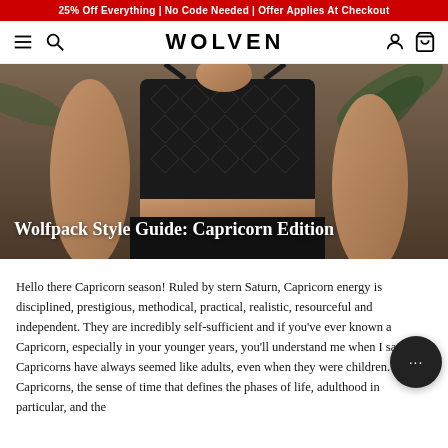25% Off Everything | No Code Needed | Offer Applies At Checkout
[Figure (logo): WOLVEN brand logo with hamburger menu, search, user, and cart icons in navigation bar]
[Figure (photo): Woman wearing a black geometric-patterned crop top and black high-waisted pants, with tropical plants in background]
Wolfpack Style Guide: Capricorn Edition
Hello there Capricorn season! Ruled by stern Saturn, Capricorn energy is disciplined, prestigious, methodical, practical, realistic, resourceful and independent. They are incredibly self-sufficient and if you've ever known a Capricorn, especially in your younger years, you'll understand me when I say that Capricorns have always seemed like adults, even when they were children. For Capricorns, the sense of time that defines the phases of life, adulthood in particular, and the